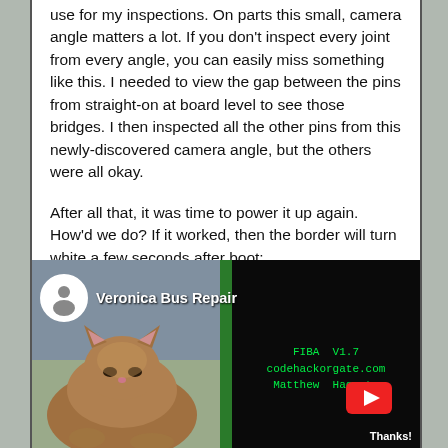use for my inspections. On parts this small, camera angle matters a lot. If you don't inspect every joint from every angle, you can easily miss something like this. I needed to view the gap between the pins from straight-on at board level to see those bridges. I then inspected all the other pins from this newly-discovered camera angle, but the others were all okay.
After all that, it was time to power it up again. How'd we do? If it worked, then the border will turn white a few seconds after boot:
[Figure (screenshot): YouTube video thumbnail titled 'Veronica Bus Repair' showing a cat on the left side against a blue/gray background, and a dark terminal screen on the right showing green text 'FIBA V1.7 codehackorgate.com Matthew Hagerty' with a green border bar, and a YouTube play button overlay. Text 'Thanks!' visible at bottom right.]